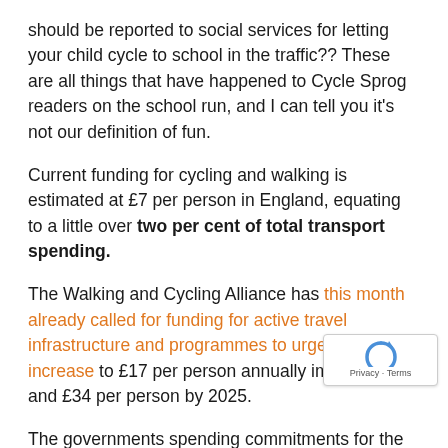should be reported to social services for letting your child cycle to school in the traffic?? These are all things that have happened to Cycle Sprog readers on the school run, and I can tell you it's not our definition of fun.
Current funding for cycling and walking is estimated at £7 per person in England, equating to a little over two per cent of total transport spending.
The Walking and Cycling Alliance has this month already called for funding for active travel infrastructure and programmes to urgently increase to £17 per person annually immediately, and £34 per person by 2025.
The governments spending commitments for the next months announced by the Chancellor just over a m...